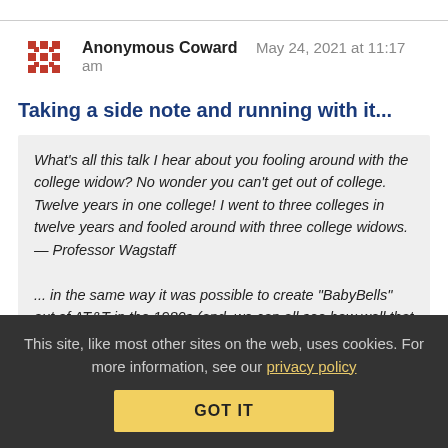Anonymous Coward   May 24, 2021 at 11:17 am
Taking a side note and running with it...
What's all this talk I hear about you fooling around with the college widow? No wonder you can't get out of college. Twelve years in one college! I went to three colleges in twelve years and fooled around with three college widows.
— Professor Wagstaff

... in the same way it was possible to create "BabyBells" out of AT&T in the 1980s (and, we can all see how well that worked in the long run).
This site, like most other sites on the web, uses cookies. For more information, see our privacy policy
GOT IT